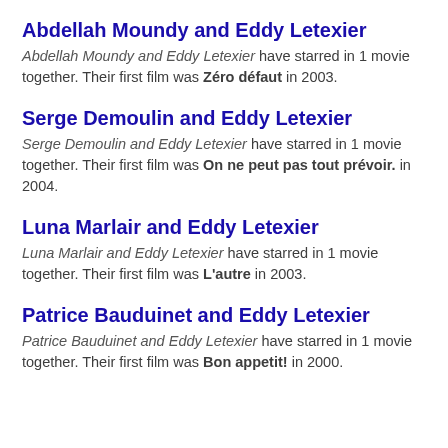Abdellah Moundy and Eddy Letexier
Abdellah Moundy and Eddy Letexier have starred in 1 movie together. Their first film was Zéro défaut in 2003.
Serge Demoulin and Eddy Letexier
Serge Demoulin and Eddy Letexier have starred in 1 movie together. Their first film was On ne peut pas tout prévoir. in 2004.
Luna Marlair and Eddy Letexier
Luna Marlair and Eddy Letexier have starred in 1 movie together. Their first film was L'autre in 2003.
Patrice Bauduinet and Eddy Letexier
Patrice Bauduinet and Eddy Letexier have starred in 1 movie together. Their first film was Bon appetit! in 2000.